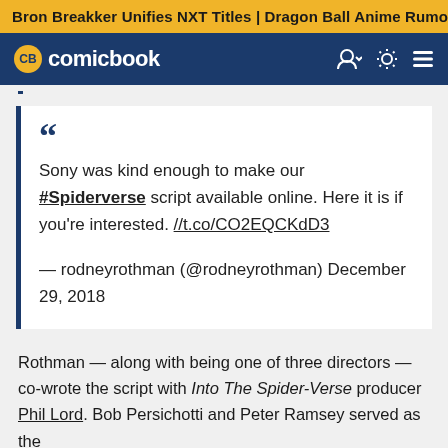Bron Breakker Unifies NXT Titles | Dragon Ball Anime Rumor
[Figure (logo): ComicBook.com logo with CB circle and nav icons on dark blue background]
““ Sony was kind enough to make our #Spiderverse script available online. Here it is if you're interested. //t.co/CO2EQCKdD3
— rodneyrothman (@rodneyrothman) December 29, 2018
Rothman — along with being one of three directors — co-wrote the script with Into The Spider-Verse producer Phil Lord. Bob Persichotti and Peter Ramsey served as the